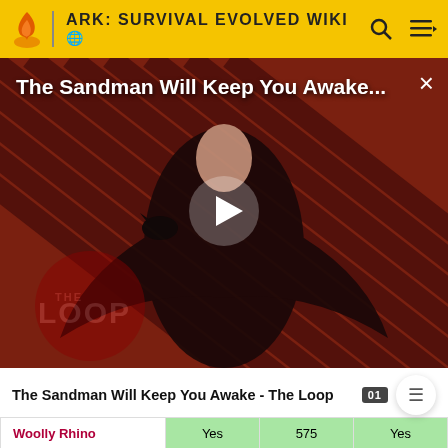ARK: SURVIVAL EVOLVED WIKI
[Figure (screenshot): Video thumbnail overlay for 'The Sandman Will Keep You Awake...' with a play button in the center. The background shows a figure in black clothing against a diagonal red and dark striped pattern. 'THE LOOP' logo is visible at bottom left. A close (X) button is in the top right.]
The Sandman Will Keep You Awake - The Loop
|  |  |  |  |
| --- | --- | --- | --- |
| Woolly Rhino | Yes | 575 | Yes |
| Wyvern | Yes/No | 555 | Yes |